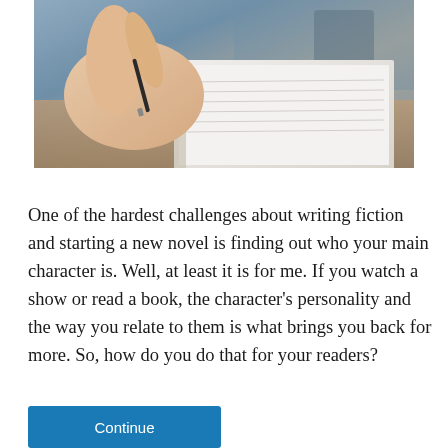[Figure (photo): Close-up photo of a person's hand holding a pen, writing in an open notebook on a wooden desk, with a laptop and other items blurred in the background.]
One of the hardest challenges about writing fiction and starting a new novel is finding out who your main character is. Well, at least it is for me. If you watch a show or read a book, the character's personality and the way you relate to them is what brings you back for more. So, how do you do that for your readers?
Continue